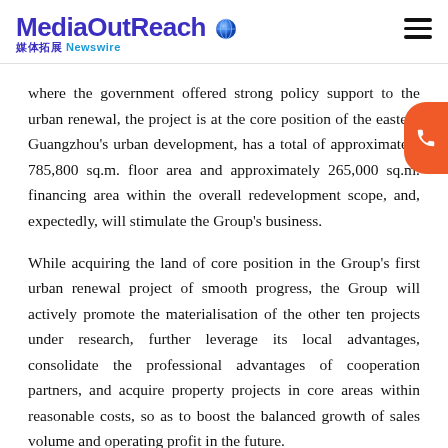MediaOutReach 媒体拓展 Newswire
where the government offered strong policy support to the urban renewal, the project is at the core position of the eastern Guangzhou's urban development, has a total of approximately 785,800 sq.m. floor area and approximately 265,000 sq.m. financing area within the overall redevelopment scope, and, expectedly, will stimulate the Group's business.
While acquiring the land of core position in the Group's first urban renewal project of smooth progress, the Group will actively promote the materialisation of the other ten projects under research, further leverage its local advantages, consolidate the professional advantages of cooperation partners, and acquire property projects in core areas within reasonable costs, so as to boost the balanced growth of sales volume and operating profit in the future.